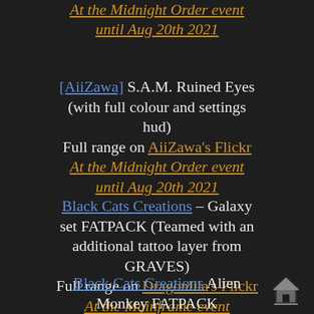At the Midnight Order event until Aug 20th 2021
[AiiZawa] S.A.M. Ruined Eyes (with full colour and settings hud) Full range on AiiZawa's Flickr At the Midnight Order event until Aug 20th 2021
Black Cats Creations – Galaxy set FATPACK (Teamed with an additional tattoo layer from GRAVES) Full range on Dragonlila's Flickr At the Mainframe event
Black Cats Creations Alien Monkey FATPACK
[Figure (illustration): Home/upload icon in bottom right corner]